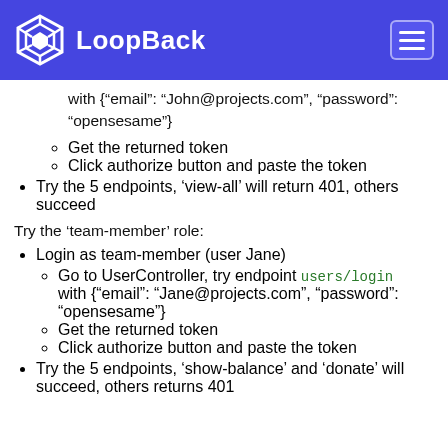LoopBack
with {"email": "John@projects.com", "password": "opensesame"}
Get the returned token
Click authorize button and paste the token
Try the 5 endpoints, 'view-all' will return 401, others succeed
Try the 'team-member' role:
Login as team-member (user Jane)
Go to UserController, try endpoint users/login with {"email": "Jane@projects.com", "password": "opensesame"}
Get the returned token
Click authorize button and paste the token
Try the 5 endpoints, 'show-balance' and 'donate' will succeed, others returns 401